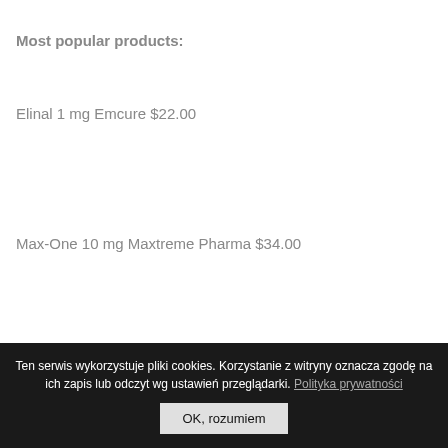Most popular products:
Elinal 1 mg Emcure $22.00
Max-One 10 mg Maxtreme Pharma $34.00
GP Test Cyp 250 mg Geneza Pharmaceuticals $51.00
Ten serwis wykorzystuje pliki cookies. Korzystanie z witryny oznacza zgodę na ich zapis lub odczyt wg ustawień przeglądarki. Polityka prywatności OK, rozumiem